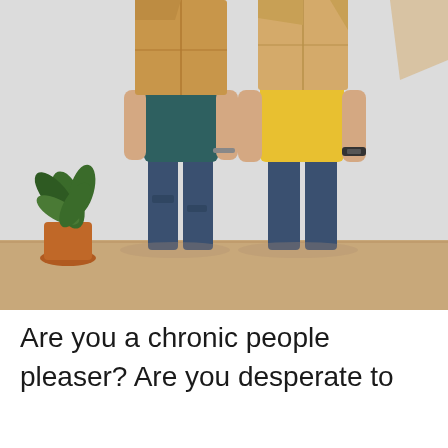[Figure (photo): Two people standing side by side with cardboard boxes over their heads/faces, hiding their identities. The person on the left wears a dark teal/green top and ripped blue jeans. The person on the right wears a yellow t-shirt and blue jeans with a watch on their wrist. A green potted plant is visible on the left side. The background is a light gray/white wall with a wooden floor.]
Are you a chronic people pleaser? Are you desperate to